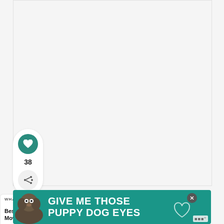ADVERTISEMENT
[Figure (other): Large empty advertisement placeholder box with light gray background]
[Figure (other): Sidebar social interaction widget with heart/like button (teal circle), like count 38, and share button]
38
[Figure (other): What's Next widget showing: WHAT'S NEXT arrow, Best Zero Turn Mower Unde... with thumbnail image of lawn mower]
[Figure (other): Bottom advertisement banner: GIVE ME THOSE PUPPY DOG EYES with dog image, teal background, close button, brand logo]